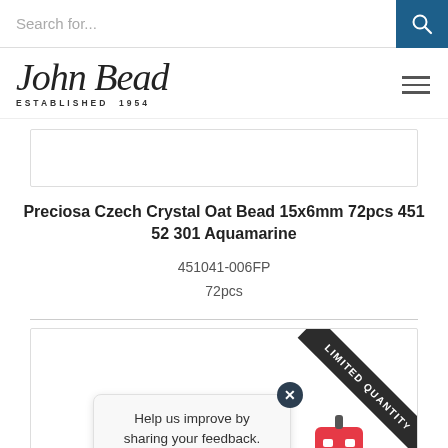Search for...
[Figure (logo): John Bead logo with cursive script and ESTABLISHED 1954 text]
Preciosa Czech Crystal Oat Bead 15x6mm 72pcs 451 52 301 Aquamarine
451041-006FP
72pcs
[Figure (other): Second product card area with LIMITED QUANTITY diagonal ribbon banner in dark gray, a feedback popup reading 'Help us improve by sharing your feedback.' with a close button, and a red robot/chatbot icon]